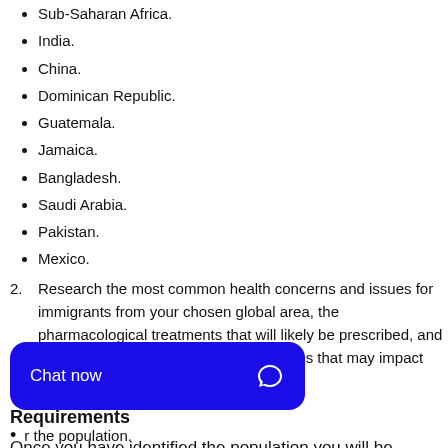Sub-Saharan Africa.
India.
China.
Dominican Republic.
Guatemala.
Jamaica.
Bangladesh.
Saudi Arabia.
Pakistan.
Mexico.
Research the most common health concerns and issues for immigrants from your chosen global area, the pharmacological treatments that will likely be prescribed, and any cultural values or traditional practices that may impact patient outcomes.
Requirements
Once you have identified the population you will be using for this assessment, include the following in your impact
r the population.